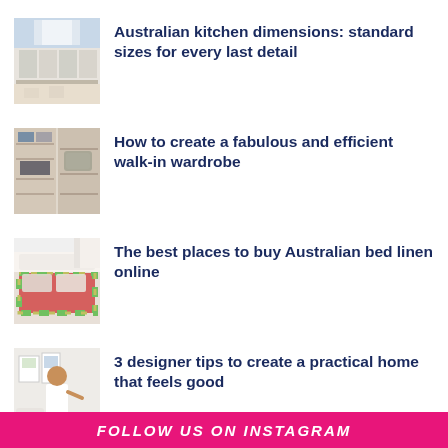[Figure (photo): Kitchen interior with white cabinets and patterned floor rug]
Australian kitchen dimensions: standard sizes for every last detail
[Figure (photo): Walk-in wardrobe with shelves showing clothes, shoes and accessories]
How to create a fabulous and efficient walk-in wardrobe
[Figure (photo): Bed with colorful plaid/checkered bedding and pillows]
The best places to buy Australian bed linen online
[Figure (photo): Man in white shirt posing in a bright room with wall art]
3 designer tips to create a practical home that feels good
FOLLOW US ON INSTAGRAM